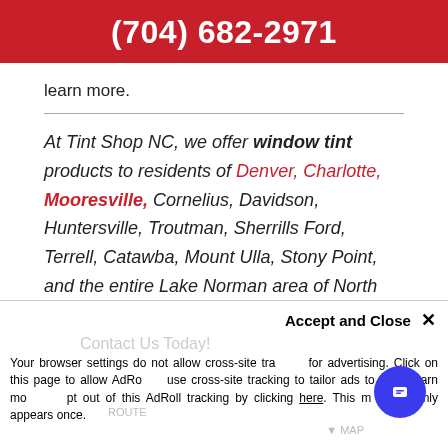(704) 682-2971
learn more.
At Tint Shop NC, we offer window tint products to residents of Denver, Charlotte, Mooresville, Cornelius, Davidson, Huntersville, Troutman, Sherrills Ford, Terrell, Catawba, Mount Ulla, Stony Point, and the entire Lake Norman area of North Carolina.
Accept and Close ✕
Your browser settings do not allow cross-site tracking for advertising. Click on this page to allow AdRoll to use cross-site tracking to tailor ads to you. Learn more or opt out of this AdRoll tracking by clicking here. This message only appears once.